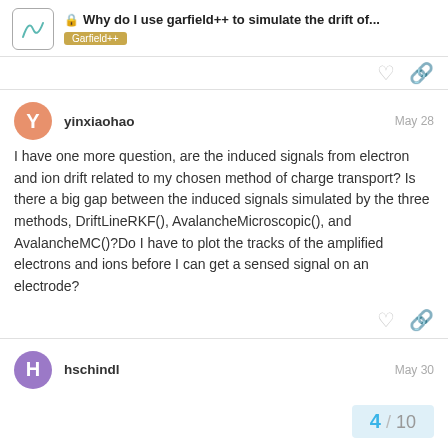Why do I use garfield++ to simulate the drift of... | Garfield++
yinxiaohao  May 28
I have one more question, are the induced signals from electron and ion drift related to my chosen method of charge transport? Is there a big gap between the induced signals simulated by the three methods, DriftLineRKF(), AvalancheMicroscopic(), and AvalancheMC()?Do I have to plot the tracks of the amplified electrons and ions before I can get a sensed signal on an electrode?
hschindl  May 30
4 / 10